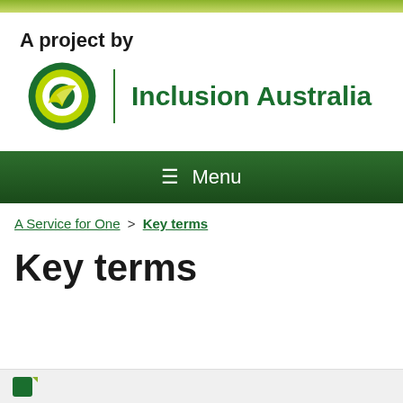[Figure (logo): Inclusion Australia logo with green circular checkmark icon and text 'Inclusion Australia', preceded by 'A project by' label]
≡ Menu
A Service for One > Key terms
Key terms